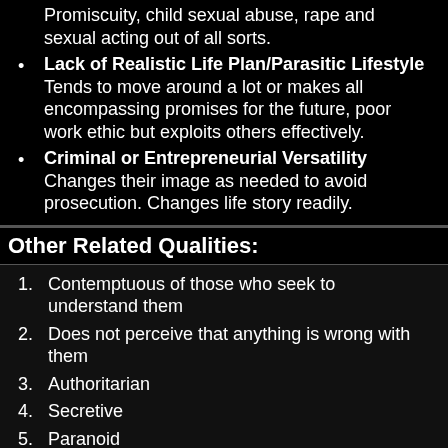Promiscuity, child sexual abuse, rape and sexual acting out of all sorts.
Lack of Realistic Life Plan/Parasitic Lifestyle Tends to move around a lot or makes all encompassing promises for the future, poor work ethic but exploits others effectively.
Criminal or Entrepreneurial Versatility Changes their image as needed to avoid prosecution. Changes life story readily.
Other Related Qualities:
1. Contemptuous of those who seek to understand them
2. Does not perceive that anything is wrong with them
3. Authoritarian
4. Secretive
5. Paranoid
6. Only rarely in difficulty with the law, but seeks out situations where their tyrannical behavior will be tolerated, condoned, or admired